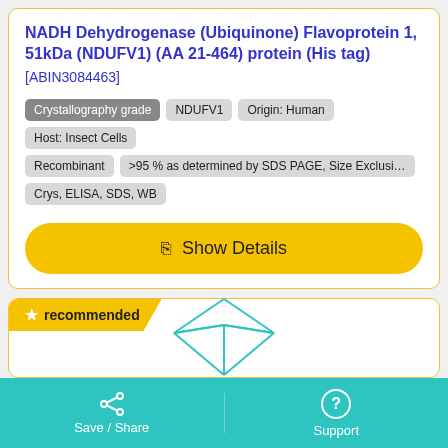NADH Dehydrogenase (Ubiquinone) Flavoprotein 1, 51kDa (NDUFV1) (AA 21-464) protein (His tag)
[ABIN3084463]
Crystallography grade
NDUFV1
Origin: Human
Host: Insect Cells
Recombinant
>95 % as determined by SDS PAGE, Size Exclusi...
Crys, ELISA, SDS, WB
Show Details
recommended
[Figure (illustration): Partial diamond/gem wireframe illustration in teal outline]
Save / Share   Support